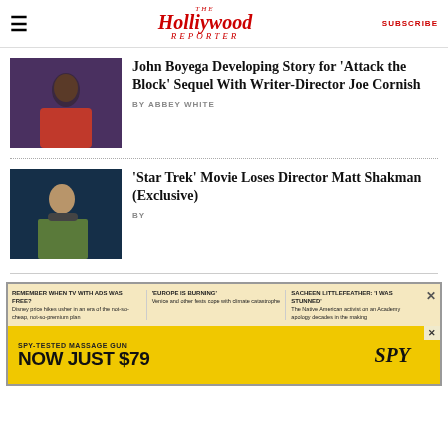The Hollywood Reporter | SUBSCRIBE
John Boyega Developing Story for 'Attack the Block' Sequel With Writer-Director Joe Cornish
BY ABBEY WHITE
'Star Trek' Movie Loses Director Matt Shakman (Exclusive)
BY
[Figure (screenshot): Advertisement area with content strips and SPY massage gun ad banner]
REMEMBER WHEN TV WITH ADS WAS FREE? Disney price hikes usher in an era of the not-so-cheap, not-so-premium plan | 'EUROPE IS BURNING' Venice and other fests cope with climate catastrophe | SACHEEN LITTLEFEATHER: 'I WAS STUNNED' The Native American activist on an Academy apology decades in the making
[Figure (photo): Advertisement: SPY-TESTED MASSAGE GUN NOW JUST $79 with SPY logo]